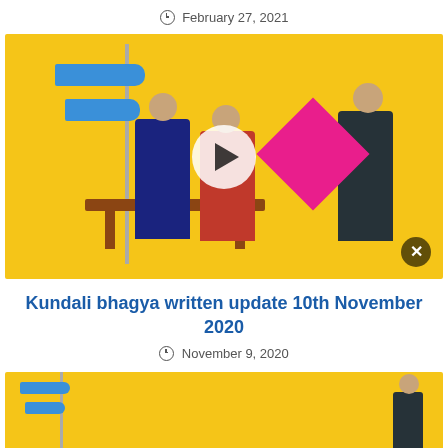February 27, 2021
[Figure (photo): Promotional image for Kundali Bhagya TV show with yellow background, directional signs, three actors on a bench, and show logo in diamond shape. Overlaid with a play button and close button.]
Kundali bhagya written update 10th November 2020
November 9, 2020
[Figure (photo): Partial promotional image for Kundali Bhagya TV show, same yellow background with directional signs and actor visible at right edge.]